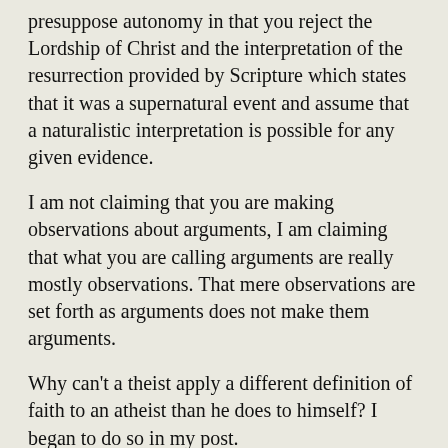presuppose autonomy in that you reject the Lordship of Christ and the interpretation of the resurrection provided by Scripture which states that it was a supernatural event and assume that a naturalistic interpretation is possible for any given evidence.
I am not claiming that you are making observations about arguments, I am claiming that what you are calling arguments are really mostly observations. That mere observations are set forth as arguments does not make them arguments.
Why can't a theist apply a different definition of faith to an atheist than he does to himself? I began to do so in my post.
You did not make the argument, but you did present the Problem of Evil as a logical problem (“It claims that the existence of evil is contradictory to the proposition ‘God exists’.”)
You did equate the straw man with the TAG, for you wrote, “What the theist *means by this